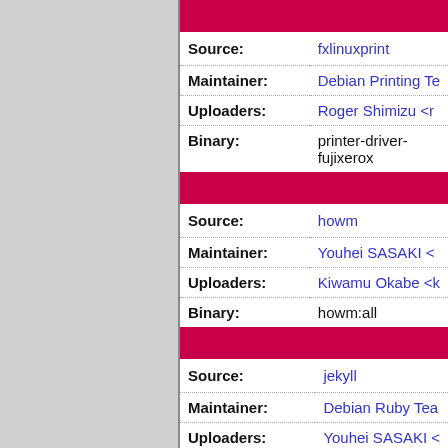| Field | Value |
| --- | --- |
| Source: | fxlinuxprint |
| Maintainer: | Debian Printing Te... |
| Uploaders: | Roger Shimizu <r... |
| Binary: | printer-driver-fujixerox |
| Field | Value |
| --- | --- |
| Source: | howm |
| Maintainer: | Youhei SASAKI <... |
| Uploaders: | Kiwamu Okabe <k... |
| Binary: | howm:all |
| Field | Value |
| --- | --- |
| Source: | jekyll |
| Maintainer: | Debian Ruby Tea... |
| Uploaders: | Youhei SASAKI <... |